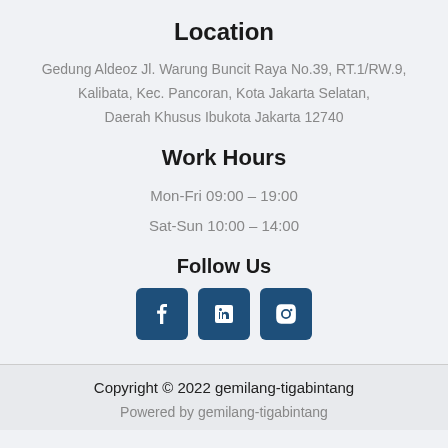Location
Gedung Aldeoz Jl. Warung Buncit Raya No.39, RT.1/RW.9, Kalibata, Kec. Pancoran, Kota Jakarta Selatan, Daerah Khusus Ibukota Jakarta 12740
Work Hours
Mon-Fri 09:00 – 19:00
Sat-Sun 10:00 – 14:00
Follow Us
[Figure (infographic): Three social media icon buttons: Facebook, LinkedIn, and Instagram, displayed as blue rounded square icons.]
Copyright © 2022 gemilang-tigabintang
Powered by gemilang-tigabintang